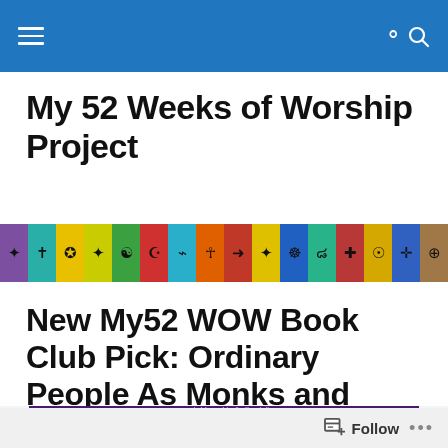My 52 Weeks of Worship Project
[Figure (illustration): A horizontal strip of colorful square tiles each containing a different religious symbol including a star, cross, crescent, ankh, dharma wheel, om symbol, and others in various colors such as purple, teal, yellow, green, red, orange, and brown.]
New My52 WOW Book Club Pick: Ordinary People As Monks and Mystics
[Figure (photo): Partial view of a book cover with dark purple background and a quote reading 'A hidden gem of a book one is blessed in finding it. —Body Mind & Spirit' with a circular design element visible at the bottom.]
Follow